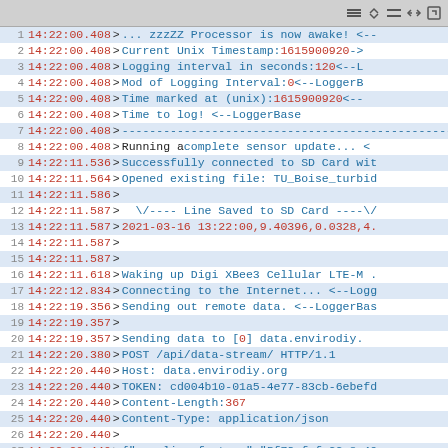[Figure (screenshot): Serial monitor / debug log output showing timestamped log lines from a data logger device, with line numbers, red timestamps, and blue/black message text in a monospace terminal interface.]